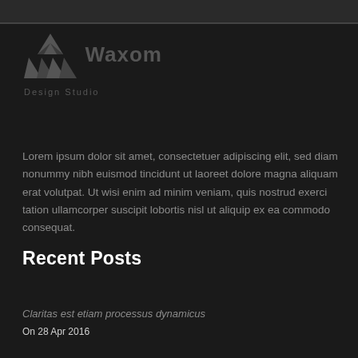[Figure (logo): Waxom Design Studio logo with triangular geometric icon in dark gray and the text 'Waxom' and 'Design Studio' beside it]
Lorem ipsum dolor sit amet, consectetuer adipiscing elit, sed diam nonummy nibh euismod tincidunt ut laoreet dolore magna aliquam erat volutpat. Ut wisi enim ad minim veniam, quis nostrud exerci tation ullamcorper suscipit lobortis nisl ut aliquip ex ea commodo consequat.
Recent Posts
Claritas est etiam processus dynamicus
On 28 Apr 2016